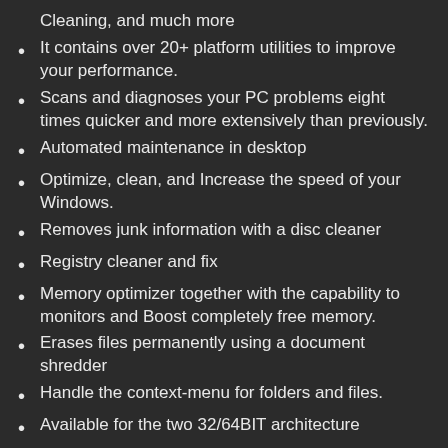Cleaning, and much more
It contains over 20+ platform utilities to improve your performance.
Scans and diagnoses your PC problems eight times quicker and more extensively than previously.
Automated maintenance in desktop
Optimize, clean, and Increase the speed of your Windows.
Removes junk information with a disc cleaner
Registry cleaner and fix
Memory optimizer together with the capability to monitors and Boost completely free memory.
Erases files permanently using a document shredder
Handle the context-menu for folders and files.
Available for the two 32/64BIT architecture
Empty folders finder